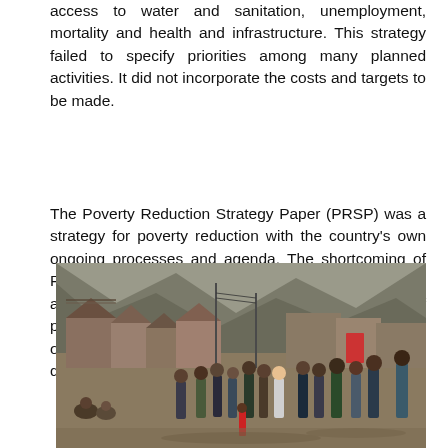access to water and sanitation, unemployment, mortality and health and infrastructure. This strategy failed to specify priorities among many planned activities. It did not incorporate the costs and targets to be made.
The Poverty Reduction Strategy Paper (PRSP) was a strategy for poverty reduction with the country's own ongoing processes and agenda. The shortcoming of PRSP were the lack of concrete operational guidelines and costing of interventions. The proliferation of poverty-eradication strategies made it harder for officials and other stakeholders to see the PRSP differently compared toprevious attempts.
[Figure (photo): A photograph of a shantytown or informal settlement showing makeshift dwellings/shacks, a dirt road, and a crowd of people standing and walking in a poverty-stricken area with rocky terrain and debris in the background.]